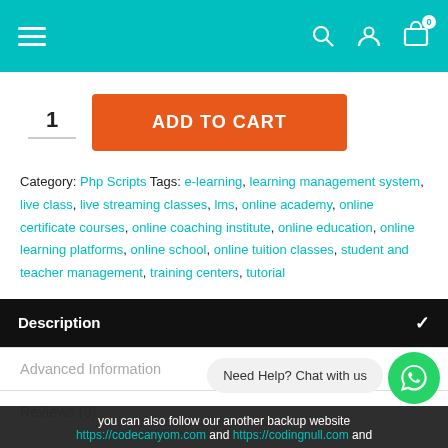Navigation header with hamburger menu, search, user, and cart icons
1  ADD TO CART
Category: Php Scripts Tags: e-learning, learning management system, live class, live streaming classes, lms, online academy, online certificate courses, online coaching institute, online education, online learning platforms, online school, online tuition classes, student and teacher management, training centers, tutorial
Description
Advanced Information
Reviews (0)
Need Help? Chat with us
you can also follow our another backup website https://codecanyom.com and https://codingnull.com and